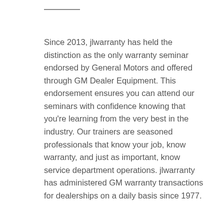Since 2013, jlwarranty has held the distinction as the only warranty seminar endorsed by General Motors and offered through GM Dealer Equipment. This endorsement ensures you can attend our seminars with confidence knowing that you're learning from the very best in the industry. Our trainers are seasoned professionals that know your job, know warranty, and just as important, know service department operations. jlwarranty has administered GM warranty transactions for dealerships on a daily basis since 1977.